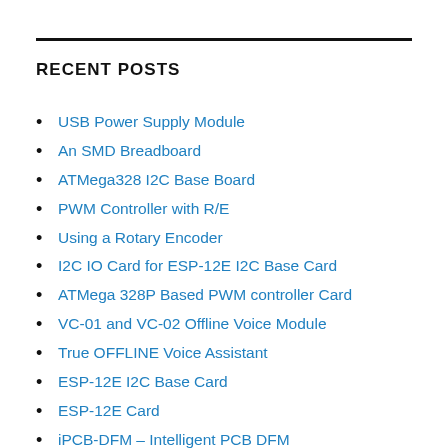RECENT POSTS
USB Power Supply Module
An SMD Breadboard
ATMega328 I2C Base Board
PWM Controller with R/E
Using a Rotary Encoder
I2C IO Card for ESP-12E I2C Base Card
ATMega 328P Based PWM controller Card
VC-01 and VC-02 Offline Voice Module
True OFFLINE Voice Assistant
ESP-12E I2C Base Card
ESP-12E Card
iPCB-DFM – Intelligent PCB DFM